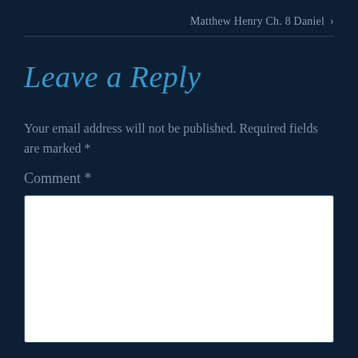Matthew Henry Ch. 8 Daniel >
Leave a Reply
Your email address will not be published. Required fields are marked *
Comment *